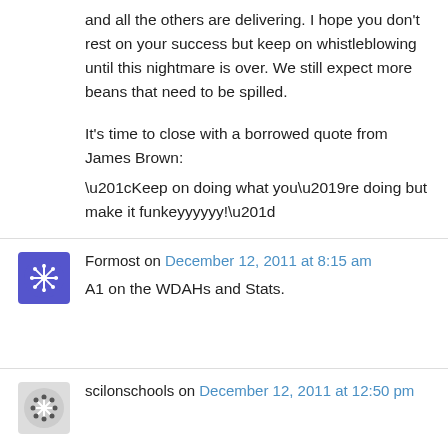and all the others are delivering. I hope you don't rest on your success but keep on whistleblowing until this nightmare is over. We still expect more beans that need to be spilled.

It's time to close with a borrowed quote from James Brown:
“Keep on doing what you’re doing but make it funkeyyyyyy!”
Formost on December 12, 2011 at 8:15 am
A1 on the WDAHs and Stats.
scilonschools on December 12, 2011 at 12:50 pm